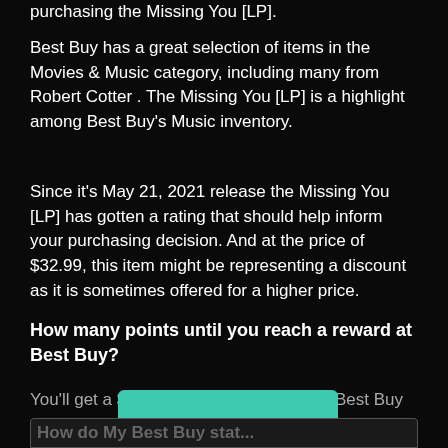purchasing the Missing You [LP].
Best Buy has a great selection of items in the Movies & Music category, including many from Robert Cotter . The Missing You [LP] is a highlight among Best Buy's Music inventory.
Since it's May 21, 2021 release the Missing You [LP] has gotten a rating that should help inform your purchasing decision. And at the price of $32.99, this item might be representing a discount as it is sometimes offered for a higher price.
How many points until you reach a reward at Best Buy?
You'll get a $5 Reward for every 250 My Best Buy points
[Figure (other): JOIN NOW! button in teal/green color]
How do My Best Buy stat...